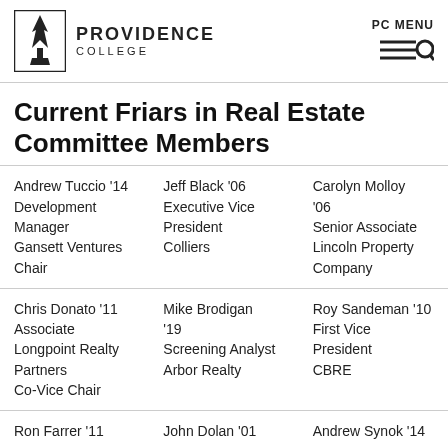Providence College | PC MENU
Current Friars in Real Estate Committee Members
| Column 1 | Column 2 | Column 3 |
| --- | --- | --- |
| Andrew Tuccio '14
Development Manager
Gansett Ventures
Chair | Jeff Black '06
Executive Vice President
Colliers | Carolyn Molloy '06
Senior Associate
Lincoln Property Company |
| Chris Donato '11
Associate
Longpoint Realty Partners
Co-Vice Chair | Mike Brodigan '19
Screening Analyst
Arbor Realty | Roy Sandeman '10
First Vice President
CBRE |
| Ron Farrer '11 | John Dolan '01 | Andrew Synok '14 |